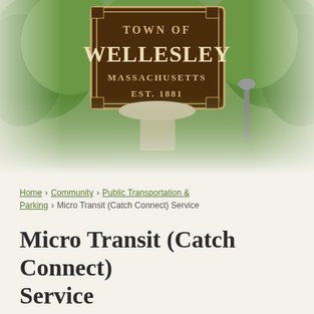[Figure (photo): Outdoor photograph showing a Town of Wellesley Massachusetts Est. 1881 wooden sign with gold lettering, surrounded by lush green trees. Below the sign is a gazebo-style structure with a decorative roof. The image fades to white at the bottom edges.]
Home › Community › Public Transportation & Parking › Micro Transit (Catch Connect) Service
Micro Transit (Catch Connect) Service